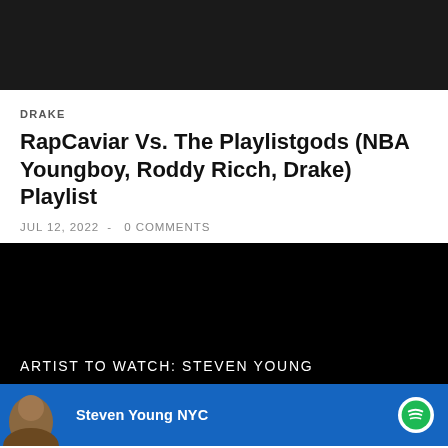[Figure (photo): Dark/black image at top of page, appears to be a music or entertainment related image]
DRAKE
RapCaviar Vs. The Playlistgods (NBA Youngboy, Roddy Ricch, Drake) Playlist
JUL 12, 2022  -  0 COMMENTS
[Figure (photo): Black background section for second article]
ARTIST TO WATCH: STEVEN YOUNG
[Figure (screenshot): Spotify card showing Steven Young NYC with blue background and person avatar]